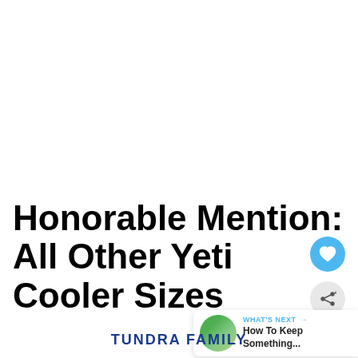Honorable Mention: All Other Yeti Cooler Sizes
TUNDRA FAMILY
[Figure (other): Blue circular heart/save button]
[Figure (other): Gray circular share button]
[Figure (other): What's Next overlay with thumbnail showing 'How To Keep Something...']